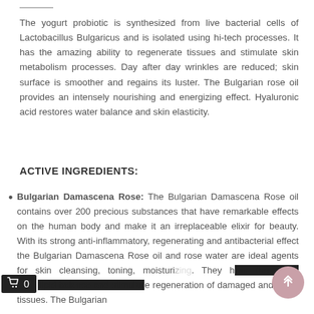The yogurt probiotic is synthesized from live bacterial cells of Lactobacillus Bulgaricus and is isolated using hi-tech processes. It has the amazing ability to regenerate tissues and stimulate skin metabolism processes. Day after day wrinkles are reduced; skin surface is smoother and regains its luster. The Bulgarian rose oil provides an intensely nourishing and energizing effect. Hyaluronic acid restores water balance and skin elasticity.
ACTIVE INGREDIENTS:
Bulgarian Damascena Rose: The Bulgarian Damascena Rose oil contains over 200 precious substances that have remarkable effects on the human body and make it an irreplaceable elixir for beauty. With its strong anti-inflammatory, regenerating and antibacterial effect the Bulgarian Damascena Rose oil and rose water are ideal agents for skin cleansing, toning, moisturizing. They maintain the skin's hydrolipid balance and stimulate regeneration of damaged and aging tissues. The Bulgarian